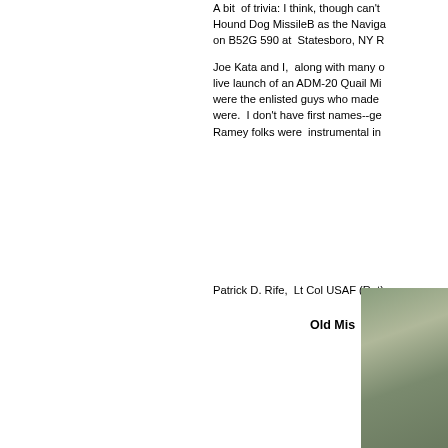A bit of trivia: I think, though can't verify, that I flew with the Hound Dog MissileB as the Navigator/Bombardier on B52G 590 at Statesboro, NY R
Joe Kata and I, along with many others, witnessed the live launch of an ADM-20 Quail Mi were the enlisted guys who made were. I don't have first names--ge Ramey folks were instrumental in
Patrick D. Rife, Lt Col USAF (Ret)
Old Mis
[Figure (photo): Partial photo visible at bottom-right corner, showing a muted green/grey toned image, appears to be an outdoor or aircraft-related photograph.]